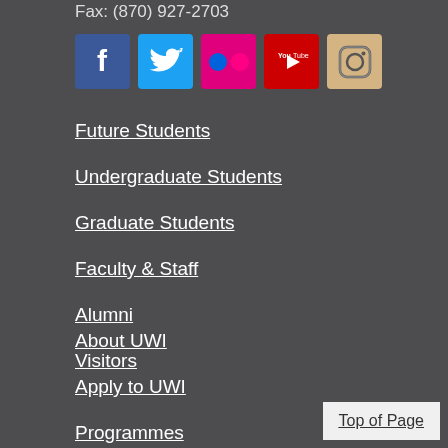Fax: (870) 927-2703
[Figure (other): Social media icons: Facebook (blue), Twitter (light blue), Flickr (pink), YouTube (red), Instagram (camera icon)]
Future Students
Undergraduate Students
Graduate Students
Faculty & Staff
Alumni
Visitors
About UWI
Apply to UWI
Programmes
Campus Life
Top of Page